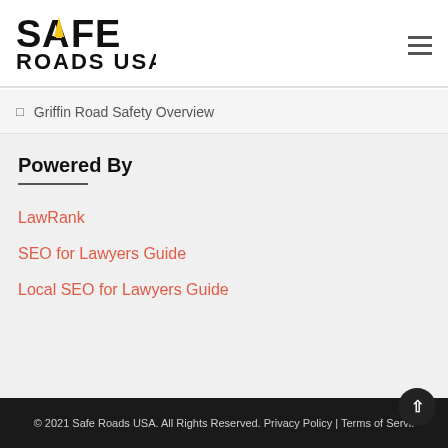[Figure (logo): Safe Roads USA logo — bold text 'SAFE ROADS USA' with a yellow traffic cone/road icon integrated into the letter A]
Griffin Road Safety Overview
Powered By
LawRank
SEO for Lawyers Guide
Local SEO for Lawyers Guide
© 2021 Safe Roads USA. All Rights Reserved. Privacy Policy | Terms of Servi.